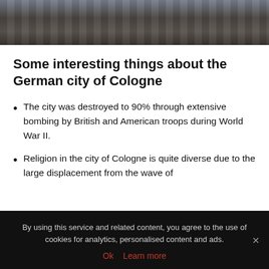[Figure (photo): Bottom portion of a photo showing a brick wall or pavement with a dark floor/ground, appears to be cropped screenshot of an outdoor scene]
Some interesting things about the German city of Cologne
The city was destroyed to 90% through extensive bombing by British and American troops during World War II.
Religion in the city of Cologne is quite diverse due to the large displacement from the wave of
By using this service and related content, you agree to the use of cookies for analytics, personalised content and ads. Ok  Learn more